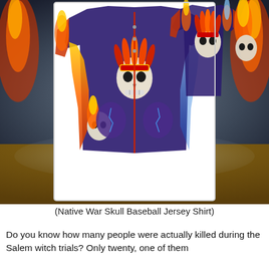[Figure (photo): A decorative baseball jersey with Native American war skull design featuring skeleton figures wearing feathered headdresses, surrounded by fire and lightning effects, displayed front and back against a baseball stadium background.]
(Native War Skull Baseball Jersey Shirt)
Do you know how many people were actually killed during the Salem witch trials? Only twenty, one of them